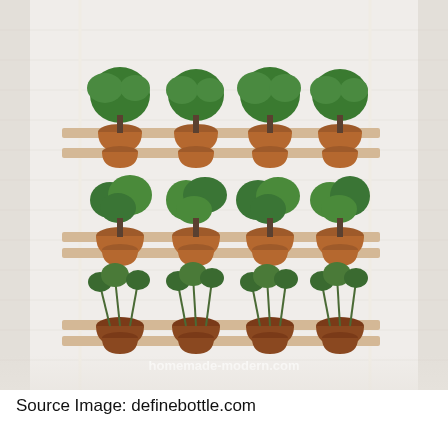[Figure (photo): A wall-mounted hanging herb garden shelf system with multiple wooden shelves suspended by ropes or cords against a white brick wall. Multiple rows of terracotta pots hold various green herbs. A watermark reads 'homemade-modern.com'.]
Source Image: definebottle.com